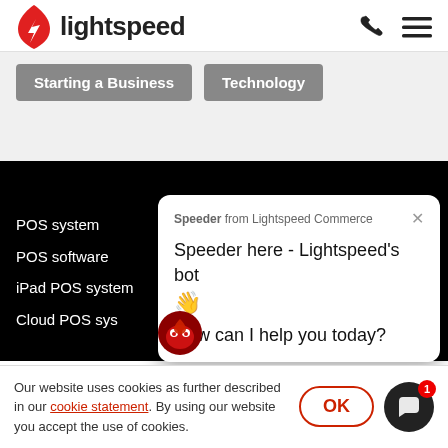lightspeed
Starting a Business
Technology
POS system
POS software
iPad POS system
Cloud POS sys
[Figure (screenshot): Lightspeed chatbot popup - Speeder from Lightspeed Commerce with message: Speeder here - Lightspeed's bot 👋 How can I help you today?]
Our website uses cookies as further described in our cookie statement. By using our website you accept the use of cookies.
OK